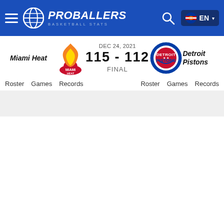PROBALLERS BASKETBALL STATS — Navigation bar with search and EN language selector
Miami Heat vs Detroit Pistons — DEC 24, 2021 — 115 - 112 FINAL
Roster | Games | Records (Miami Heat)
Roster | Games | Records (Detroit Pistons)